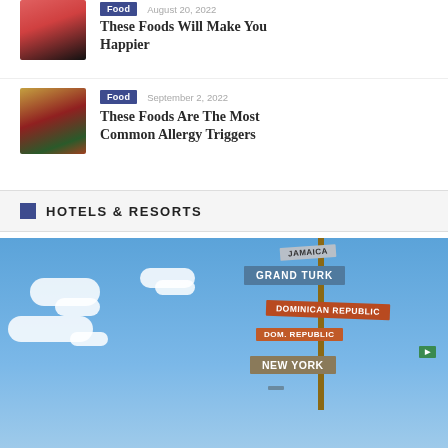[Figure (photo): Salmon/seafood food photo thumbnail]
Food  August 20, 2022
These Foods Will Make You Happier
[Figure (photo): Assorted food spread with cheeses, fruits and vegetables thumbnail]
Food  September 2, 2022
These Foods Are The Most Common Allergy Triggers
HOTELS & RESORTS
[Figure (photo): Blue sky with white clouds and a wooden directional signpost showing destinations: Jamaica, Grand Turk, Dominican Republic, New York]